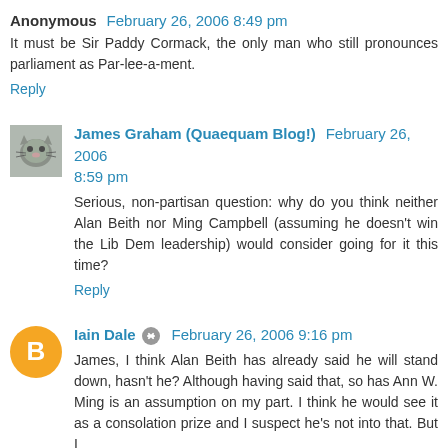Anonymous  February 26, 2006 8:49 pm
It must be Sir Paddy Cormack, the only man who still pronounces parliament as Par-lee-a-ment.
Reply
James Graham (Quaequam Blog!)  February 26, 2006 8:59 pm
Serious, non-partisan question: why do you think neither Alan Beith nor Ming Campbell (assuming he doesn't win the Lib Dem leadership) would consider going for it this time?
Reply
Iain Dale  February 26, 2006 9:16 pm
James, I think Alan Beith has already said he will stand down, hasn't he? Although having said that, so has Ann W. Ming is an assumption on my part. I think he would see it as a consolation prize and I suspect he's not into that. But I